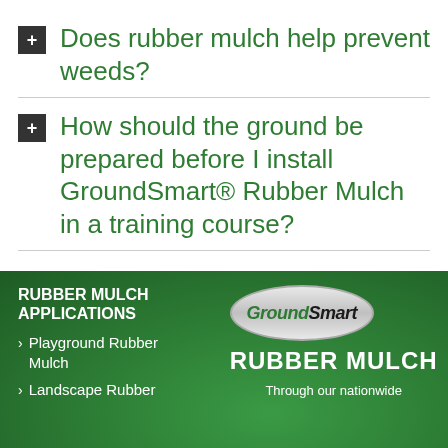Does rubber mulch help prevent weeds?
How should the ground be prepared before I install GroundSmart® Rubber Mulch in a training course?
RUBBER MULCH APPLICATIONS
> Playground Rubber Mulch
> Landscape Rubber
[Figure (logo): GroundSmart Rubber Mulch logo — oval badge with 'GroundSmart' text and 'RUBBER MULCH' below]
Through our nationwide